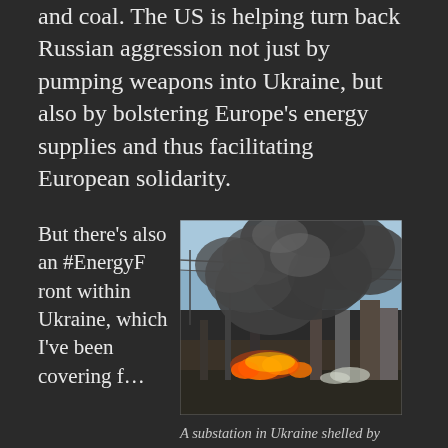and coal. The US is helping turn back Russian aggression not just by pumping weapons into Ukraine, but also by bolstering Europe's energy supplies and thus facilitating European solidarity.
But there's also an #EnergyFront within Ukraine, which I've been covering f…
[Figure (photo): A burning electrical substation with large dark smoke clouds rising, flames visible at the base. Power line structures visible in background.]
A substation in Ukraine shelled by Russia. Photo credit: State Emergency Service Of Ukraine.